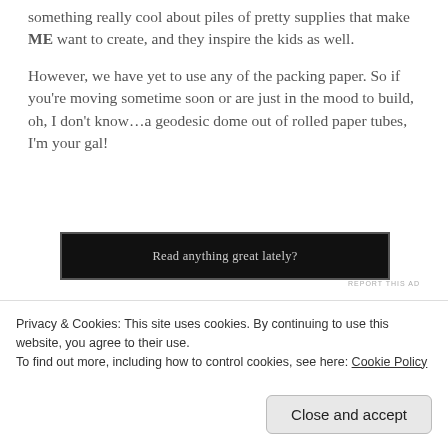something really cool about piles of pretty supplies that make ME want to create, and they inspire the kids as well.
However, we have yet to use any of the packing paper. So if you're moving sometime soon or are just in the mood to build, oh, I don't know…a geodesic dome out of rolled paper tubes, I'm your gal!
[Figure (other): Advertisement banner with dark background reading 'Read anything great lately?']
REPORT THIS AD
Privacy & Cookies: This site uses cookies. By continuing to use this website, you agree to their use.
To find out more, including how to control cookies, see here: Cookie Policy
Close and accept